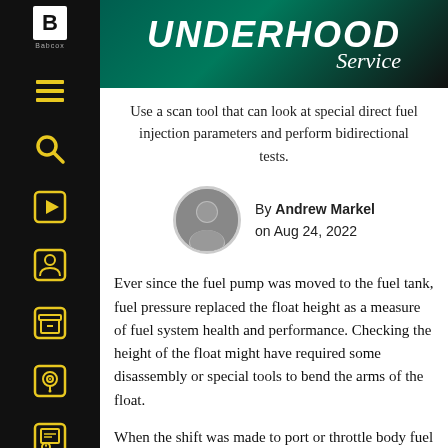[Figure (logo): Babcox logo with B in white box and Babcox text below, on black sidebar]
UNDERHOOD Service
Use a scan tool that can look at special direct fuel injection parameters and perform bidirectional tests.
By Andrew Markel on Aug 24, 2022
Ever since the fuel pump was moved to the fuel tank, fuel pressure replaced the float height as a measure of fuel system health and performance. Checking the height of the float might have required some disassembly or special tools to bend the arms of the float.
When the shift was made to port or throttle body fuel injection, all a technician needed to diagnose